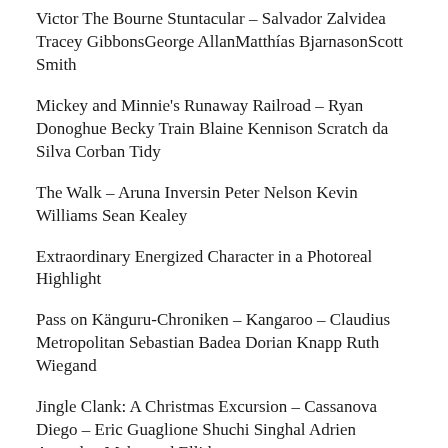Victor The Bourne Stuntacular – Salvador Zalvidea Tracey GibbonsGeorge AllanMatthías BjarnasonScott Smith
Mickey and Minnie's Runaway Railroad – Ryan Donoghue Becky Train Blaine Kennison Scratch da Silva Corban Tidy
The Walk – Aruna Inversin Peter Nelson Kevin Williams Sean Kealey
Extraordinary Energized Character in a Photoreal Highlight
Pass on Känguru-Chroniken – Kangaroo – Claudius Metropolitan Sebastian Badea Dorian Knapp Ruth Wiegand
Jingle Clank: A Christmas Excursion – Cassanova Diego – Eric Guaglione Shuchi Singhal Adrien Annesley Mahmoud Ellithy